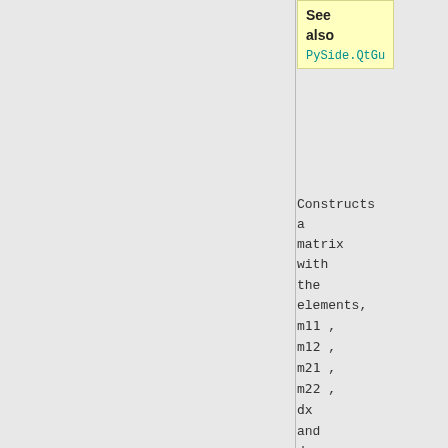[Figure (screenshot): Left gray navigation panel of a documentation page]
See also
PySide.QtGu
Constructs a matrix with the elements, m11 , m12 , m21 , m22 , dx and dy .
See also
PySide.QtGu
PySide.QtGui.QTrans
Constant
QTransform.TxN